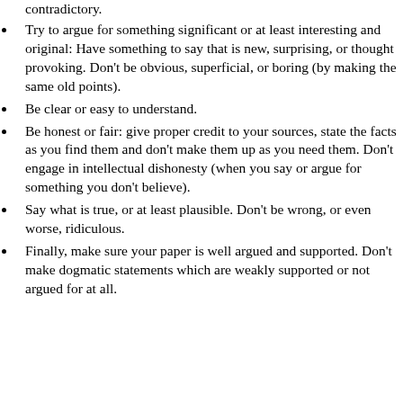contradictory.
Try to argue for something significant or at least interesting and original: Have something to say that is new, surprising, or thought provoking. Don't be obvious, superficial, or boring (by making the same old points).
Be clear or easy to understand.
Be honest or fair: give proper credit to your sources, state the facts as you find them and don't make them up as you need them. Don't engage in intellectual dishonesty (when you say or argue for something you don't believe).
Say what is true, or at least plausible. Don't be wrong, or even worse, ridiculous.
Finally, make sure your paper is well argued and supported. Don't make dogmatic statements which are weakly supported or not argued for at all.